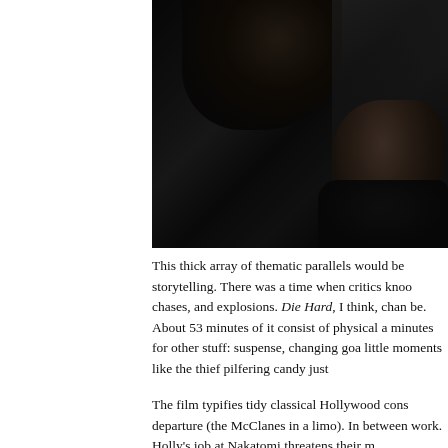[Figure (photo): Dark film still showing a person with dark hair and leather jacket against a wall, appears to be from the movie Die Hard]
This thick array of thematic parallels would be storytelling. There was a time when critics knoo chases, and explosions. Die Hard, I think, chan be. About 53 minutes of it consist of physical a minutes for other stuff: suspense, changing goa little moments like the thief pilfering candy just
The film typifies tidy classical Hollywood cons departure (the McClanes in a limo). In between work. Holly's job at Nakatomi threatens their m